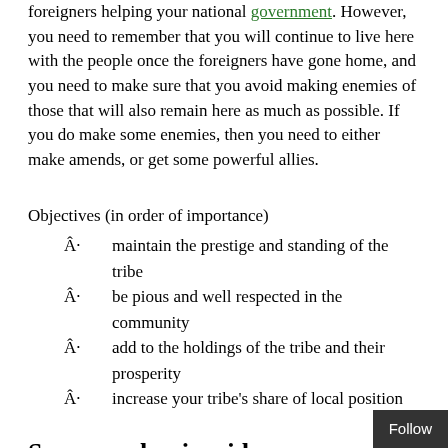foreigners helping your national government. However, you need to remember that you will continue to live here with the people once the foreigners have gone home, and you need to make sure that you avoid making enemies of those that will also remain here as much as possible. If you do make some enemies, then you need to either make amends, or get some powerful allies.
Objectives (in order of importance)
maintain the prestige and standing of the tribe
be pious and well respected in the community
add to the holdings of the tribe and their prosperity
increase your tribe’s share of local position
Some mechanism ideas
There needs to be a table showing the contribution to being self-sustaining from the point of view of livestock owned fields farmed (depending on size and crop grown), and